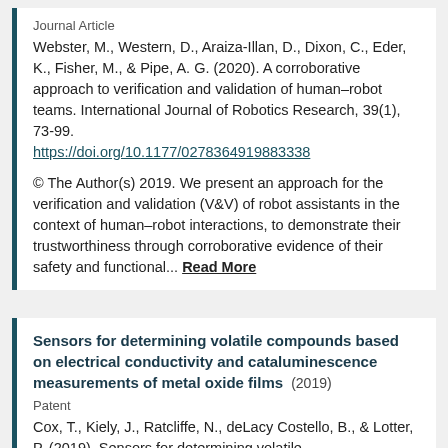Journal Article
Webster, M., Western, D., Araiza-Illan, D., Dixon, C., Eder, K., Fisher, M., & Pipe, A. G. (2020). A corroborative approach to verification and validation of human–robot teams. International Journal of Robotics Research, 39(1), 73-99. https://doi.org/10.1177/0278364919883338
© The Author(s) 2019. We present an approach for the verification and validation (V&V) of robot assistants in the context of human–robot interactions, to demonstrate their trustworthiness through corroborative evidence of their safety and functional... Read More
Sensors for determining volatile compounds based on electrical conductivity and cataluminescence measurements of metal oxide films (2019)
Patent
Cox, T., Kiely, J., Ratcliffe, N., deLacy Costello, B., & Lotter, P. (2019). Sensors for determining volatile...